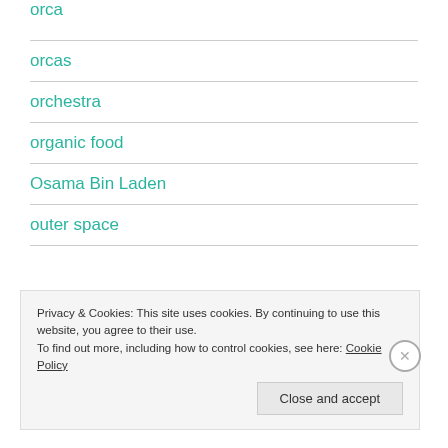orca
orcas
orchestra
organic food
Osama Bin Laden
outer space
Privacy & Cookies: This site uses cookies. By continuing to use this website, you agree to their use.
To find out more, including how to control cookies, see here: Cookie Policy
Close and accept